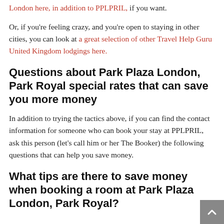London here, in addition to PPLPRIL, if you want.
Or, if you're feeling crazy, and you're open to staying in other cities, you can look at a great selection of other Travel Help Guru United Kingdom lodgings here.
Questions about Park Plaza London, Park Royal special rates that can save you more money
In addition to trying the tactics above, if you can find the contact information for someone who can book your stay at PPLPRIL, ask this person (let's call him or her The Booker) the following questions that can help you save money.
What tips are there to save money when booking a room at Park Plaza London, Park Royal?